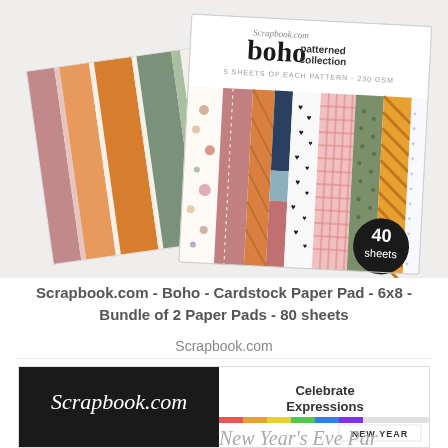[Figure (photo): Product photo of Scrapbook.com Boho Patterned Collection Cardstock Paper Pad bundle showing two paper pads - one showing solid color stripes in earthy tones (mauve, peach, orange, sage, white) and another showing various patterned papers (floral, geometric, gingham, polka dot, diagonal stripes). A black circular badge reads '40 sheets'. The cover label reads 'Scrapbook.com boho patterned collection - 5 sheets of each pattern - 230 GSM'.]
Scrapbook.com - Boho - Cardstock Paper Pad - 6x8 - Bundle of 2 Paper Pads - 80 sheets
Scrapbook.com
[Figure (photo): Partial product image showing Scrapbook.com 'Celebrate Expressions - New Year' product with black header showing 'Scrapbook.com' in script font, and 'Celebrate Expressions' text on right, with colorful stripe and 'NEW YEAR' label, and decorative script text reading 'New Year's Eve Party' partially visible.]